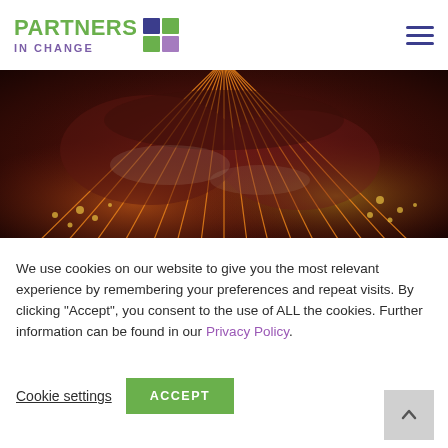Partners in Change
[Figure (photo): Aerial or globe-like view with glowing orange lines radiating across a dark reddish-brown terrain surface, resembling a network or connectivity visualization.]
We use cookies on our website to give you the most relevant experience by remembering your preferences and repeat visits. By clicking "Accept", you consent to the use of ALL the cookies. Further information can be found in our Privacy Policy.
Cookie settings    ACCEPT